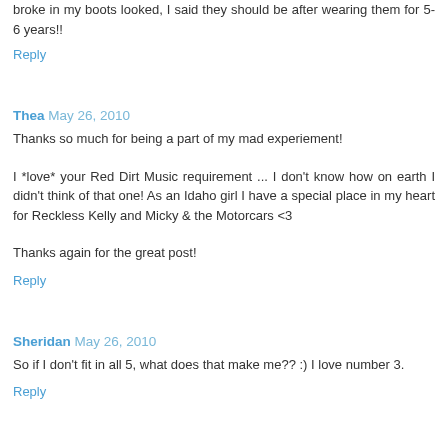broke in my boots looked, I said they should be after wearing them for 5-6 years!!
Reply
Thea May 26, 2010
Thanks so much for being a part of my mad experiement!
I *love* your Red Dirt Music requirement ... I don't know how on earth I didn't think of that one! As an Idaho girl I have a special place in my heart for Reckless Kelly and Micky & the Motorcars <3
Thanks again for the great post!
Reply
Sheridan May 26, 2010
So if I don't fit in all 5, what does that make me?? :) I love number 3.
Reply